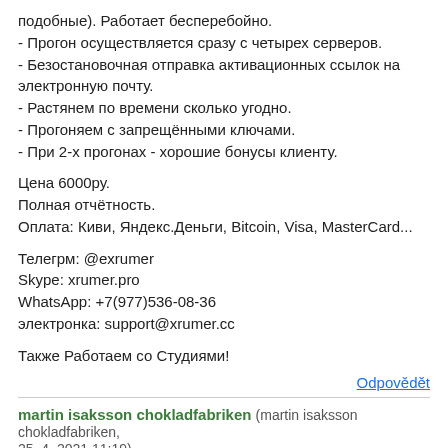подобные). Работает бесперебойно.
- Прогон осуществляется сразу с четырех серверов.
- Безостановочная отправка активационных ссылок на электронную почту.
- Растянем по времени сколько угодно.
- Прогоняем с запрещёнными ключами.
- При 2-х прогонах - хорошие бонусы клиенту.
Цена 6000ру.
Полная отчётность.
Оплата: Киви, Яндекс.Деньги, Bitcoin, Visa, MasterCard...
Телегрм: @exrumer
Skype: xrumer.pro
WhatsApp: +7(977)536-08-36
электронка: support@xrumer.cc
Также Работаем со Студиями!
Odpovědět
martin isaksson chokladfabriken (martin isaksson chokladfabriken, 25. 4. 2021 11:19)